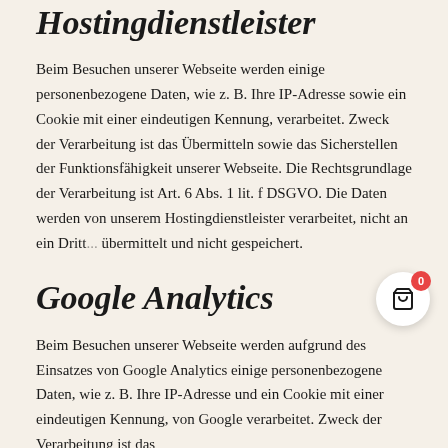Hostingdienstleister
Beim Besuchen unserer Webseite werden einige personenbezogene Daten, wie z. B. Ihre IP-Adresse sowie ein Cookie mit einer eindeutigen Kennung, verarbeitet. Zweck der Verarbeitung ist das Übermitteln sowie das Sicherstellen der Funktionsfähigkeit unserer Webseite. Die Rechtsgrundlage der Verarbeitung ist Art. 6 Abs. 1 lit. f DSGVO. Die Daten werden von unserem Hostingdienstleister verarbeitet, nicht an ein Dritt... übermittelt und nicht gespeichert.
Google Analytics
Beim Besuchen unserer Webseite werden aufgrund des Einsatzes von Google Analytics einige personenbezogene Daten, wie z. B. Ihre IP-Adresse und ein Cookie mit einer eindeutigen Kennung, von Google verarbeitet. Zweck der Verarbeitung ist das